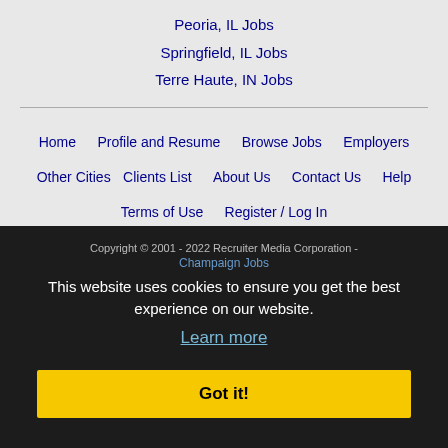Peoria, IL Jobs
Springfield, IL Jobs
Terre Haute, IN Jobs
Home | Profile and Resume | Browse Jobs | Employers | Other Cities | Clients List | About Us | Contact Us | Help | Terms of Use | Register / Log In
Copyright © 2001 - 2022 Recruiter Media Corporation - Champaign Jobs
This website uses cookies to ensure you get the best experience on our website. Learn more
Got it!